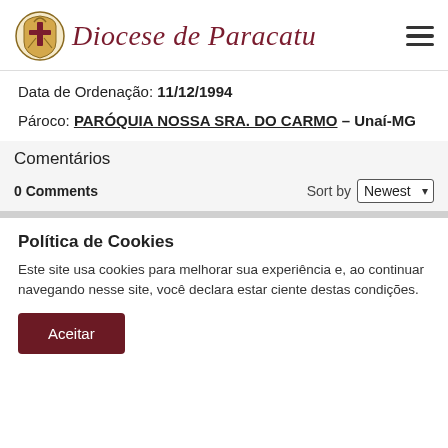Diocese de Paracatu
Data de Ordenação: 11/12/1994
Pároco: PARÓQUIA NOSSA SRA. DO CARMO – Unaí-MG
Comentários
0 Comments
Sort by Newest
Política de Cookies
Este site usa cookies para melhorar sua experiência e, ao continuar navegando nesse site, você declara estar ciente destas condições.
Aceitar